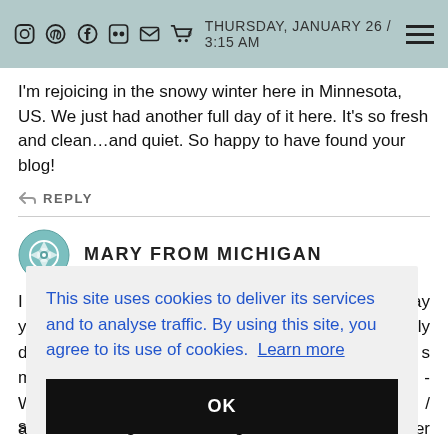THURSDAY, JANUARY 26 / 3:15 AM
I'm rejoicing in the snowy winter here in Minnesota, US. We just had another full day of it here. It's so fresh and clean...and quiet. So happy to have found your blog!
↩ REPLY
MARY FROM MICHIGAN
This site uses cookies to deliver its services and to analyse traffic. By using this site, you agree to its use of cookies. Learn more
OK
sure he's loving it and missing home a bit: